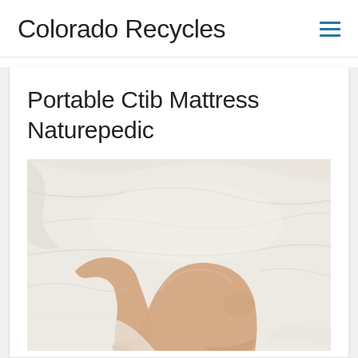Colorado Recycles
Portable Ctib Mattress Naturepedic
[Figure (photo): Photo of a person's bare legs and feet lying on a white bed with wrinkled white sheets/bedding, viewed from above at an angle.]